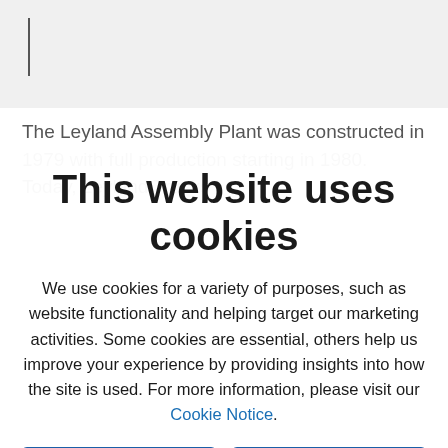The Leyland Assembly Plant was constructed in 1979 with full production starting in 1980. Today, Leyland Trucks
This website uses cookies
We use cookies for a variety of purposes, such as website functionality and helping target our marketing activities. Some cookies are essential, others help us improve your experience by providing insights into how the site is used. For more information, please visit our Cookie Notice.
Accept all
Change settings